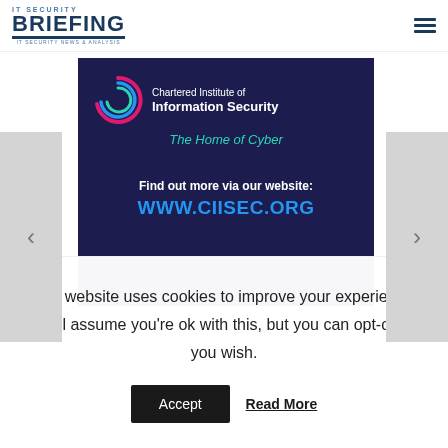IT Security Briefing - IT Security News & Analysis
[Figure (illustration): Chartered Institute of Information Security advertisement banner on dark navy background. Features the CIISec spiral logo, text 'Chartered Institute of Information Security', 'The Home of Cyber', 'Find out more via our website:', and 'WWW.CIISEC.ORG' in blue. Side navigation arrows (prev/next) visible on left and right sides.]
This website uses cookies to improve your experience. We'll assume you're ok with this, but you can opt-out if you wish.
Accept   Read More